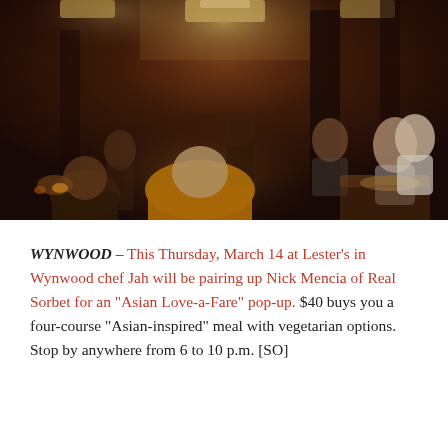[Figure (photo): Dimly lit restaurant interior with people dining at tables, warm amber lighting, dark atmosphere typical of an upscale restaurant or lounge.]
WYNWOOD – This Thursday, March 14 at Lester's in Wynwood chef Jah will be pairing up Nick Mencia of Real Sorbet for an "Asian Love-a-Fare" pop-up. $40 buys you a four-course "Asian-inspired" meal with vegetarian options. Stop by anywhere from 6 to 10 p.m. [SO]